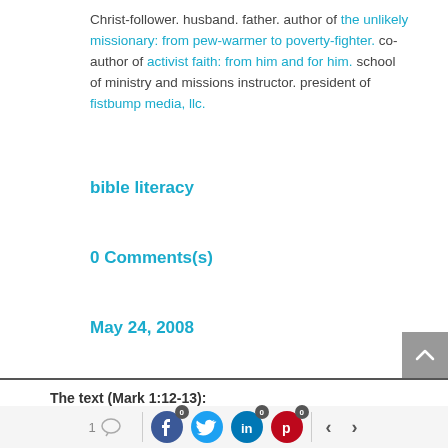Christ-follower. husband. father. author of the unlikely missionary: from pew-warmer to poverty-fighter. co-author of activist faith: from him and for him. school of ministry and missions instructor. president of fistbump media, llc.
bible literacy
0 Comments(s)
May 24, 2008
The text (Mark 1:12-13):